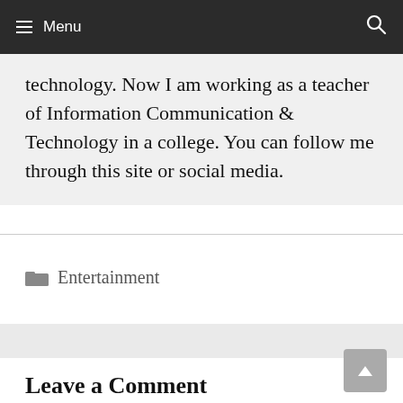Menu
technology. Now I am working as a teacher of Information Communication & Technology in a college. You can follow me through this site or social media.
Entertainment
Leave a Comment